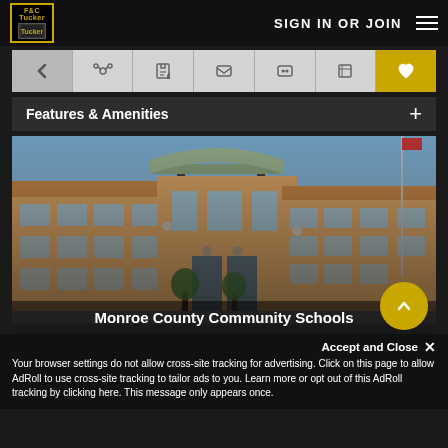F&C Tucker - SIGN IN OR JOIN
Features & Amenities
[Figure (photo): Exterior photo of Monroe County Community Schools building, a modern brick school with large windows and a covered entrance]
Monroe County Community Schools
Accept and Close ✕
Your browser settings do not allow cross-site tracking for advertising. Click on this page to allow AdRoll to use cross-site tracking to tailor ads to you. Learn more or opt out of this AdRoll tracking by clicking here. This message only appears once.